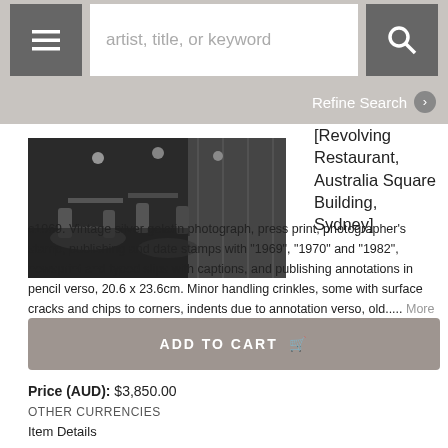artist, title, or keyword
Refine Search
[Figure (photo): Black and white photograph of interior of Revolving Restaurant, Australia Square Building, Sydney, showing tables, chairs, and large windows.]
[Revolving Restaurant, Australia Square Building, Sydney]
c1969. Vintage silver gelatin photograph, press print, photographer's stamp, publishing and date stamps with "1969", "1970" and "1982", newsprint and typed slips with captions, and publishing annotations in pencil verso, 20.6 x 23.6cm. Minor handling crinkles, some with surface cracks and chips to corners, indents due to annotation verso, old..... More
ADD TO CART
Price (AUD): $3,850.00
OTHER CURRENCIES
Item Details